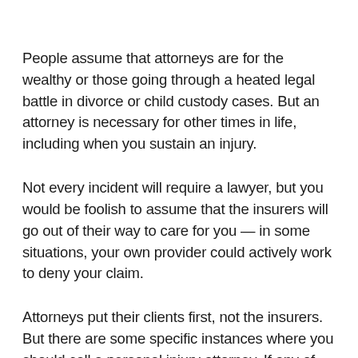People assume that attorneys are for the wealthy or those going through a heated legal battle in divorce or child custody cases. But an attorney is necessary for other times in life, including when you sustain an injury.
Not every incident will require a lawyer, but you would be foolish to assume that the insurers will go out of their way to care for you — in some situations, your own provider could actively work to deny your claim.
Attorneys put their clients first, not the insurers. But there are some specific instances where you should call a personal injury attorney. If any of the following five things have happened to you, it's time to seek